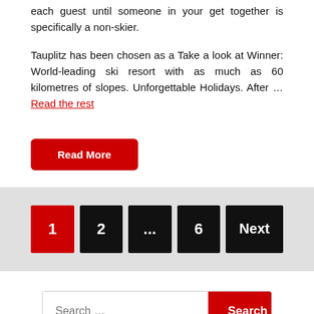each guest until someone in your get together is specifically a non-skier.
Tauplitz has been chosen as a Take a look at Winner: World-leading ski resort with as much as 60 kilometres of slopes. Unforgettable Holidays. After … Read the rest
Read More
1  2  ...  6  Next
Search ...  Search